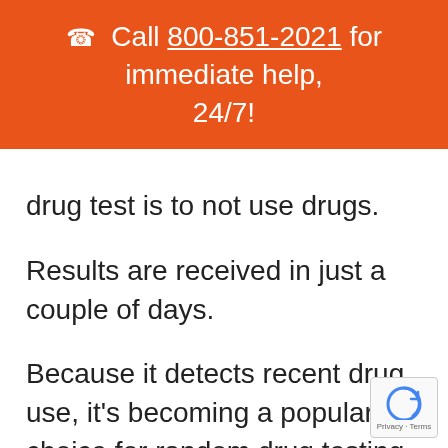☎ Call 800-851-2021 for immediate help, 24/7!
drug test is to not use drugs.
Results are received in just a couple of days.
Because it detects recent drug use, it's becoming a popular choice for random drug testing. In fact, the HHS (The Health and Human Services
[Figure (other): Google reCAPTCHA badge with Privacy and Terms text]